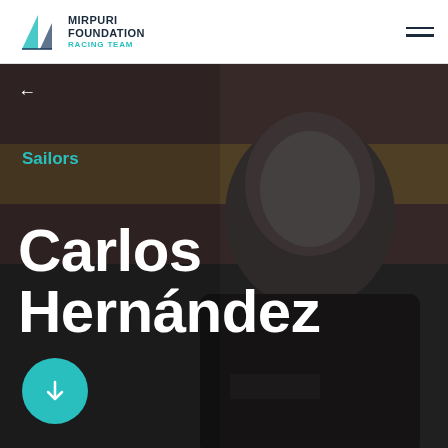Mirpuri Foundation Racing Team
[Figure (photo): Black and white portrait photo of Carlos Hernández, sailor, smiling, wearing a dark Mirpuri Foundation Racing Team / Hi Fly branded jersey. Spanish flag visible in the blurred background.]
←
Sailors
Carlos Hernández